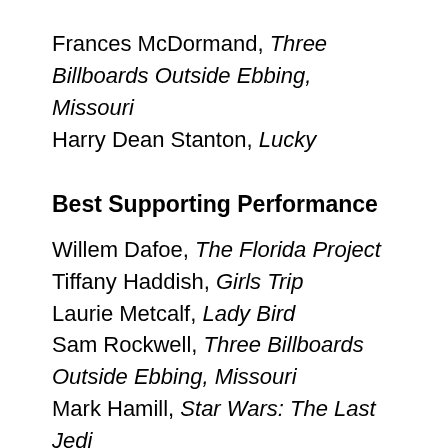Frances McDormand, Three Billboards Outside Ebbing, Missouri
Harry Dean Stanton, Lucky
Best Supporting Performance
Willem Dafoe, The Florida Project
Tiffany Haddish, Girls Trip
Laurie Metcalf, Lady Bird
Sam Rockwell, Three Billboards Outside Ebbing, Missouri
Mark Hamill, Star Wars: The Last Jedi
Best Director
Paul Thomas Anderson, Phantom Thread